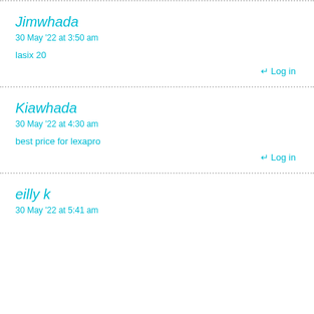Jimwhada
30 May '22 at 3:50 am
lasix 20
↵ Log in
Kiawhada
30 May '22 at 4:30 am
best price for lexapro
↵ Log in
eilly k
30 May '22 at 5:41 am